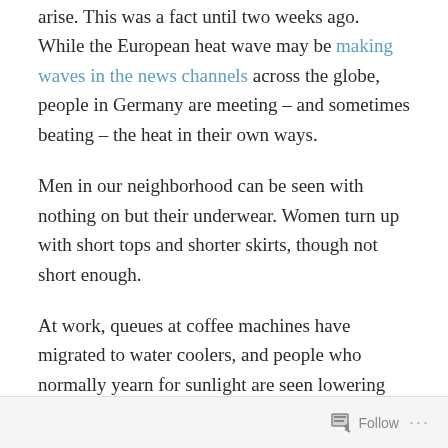arise. This was a fact until two weeks ago. While the European heat wave may be making waves in the news channels across the globe, people in Germany are meeting – and sometimes beating – the heat in their own ways.
Men in our neighborhood can be seen with nothing on but their underwear. Women turn up with short tops and shorter skirts, though not short enough.
At work, queues at coffee machines have migrated to water coolers, and people who normally yearn for sunlight are seen lowering the blinds each morning.
Fields of corn, once green, are now burnt yellow.
Follow ...